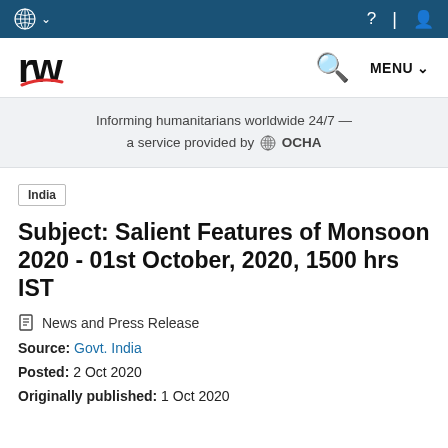UN logo navigation bar with menu
[Figure (logo): ReliefWeb (rw) logo with search icon and MENU dropdown]
Informing humanitarians worldwide 24/7 — a service provided by OCHA
India
Subject: Salient Features of Monsoon 2020 - 01st October, 2020, 1500 hrs IST
News and Press Release
Source: Govt. India
Posted: 2 Oct 2020
Originally published: 1 Oct 2020